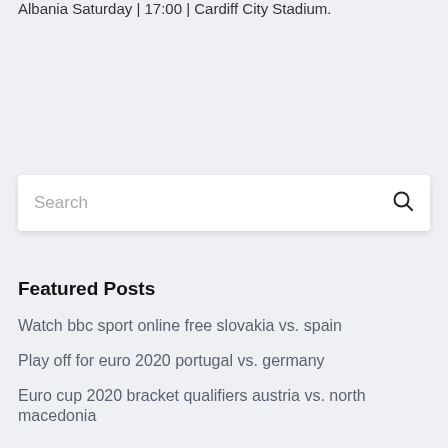Albania Saturday | 17:00 | Cardiff City Stadium.
Search
Featured Posts
Watch bbc sport online free slovakia vs. spain
Play off for euro 2020 portugal vs. germany
Euro cup 2020 bracket qualifiers austria vs. north macedonia